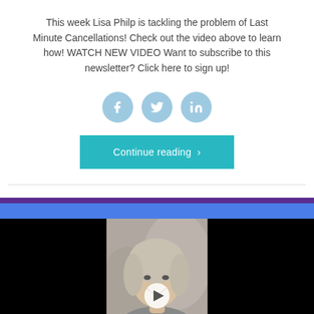This week Lisa Philp is tackling the problem of Last Minute Cancellations! Check out the video above to learn how! WATCH NEW VIDEO Want to subscribe to this newsletter? Click here to sign up!
[Figure (infographic): Social media share icons: Facebook, Twitter, LinkedIn — light blue circular buttons]
[Figure (infographic): Teal 'Continue reading >' button]
[Figure (screenshot): Video thumbnail showing a woman with blonde hair smiling, with a purple top stripe, blue stripe below, and black letterbox bars on left and right. A white play button triangle is visible at the bottom center.]